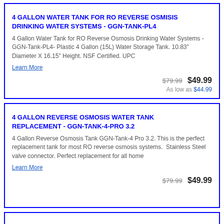4 GALLON WATER TANK FOR RO REVERSE OSMISIS DRINKING WATER SYSTEMS - GGN-TANK-PL4
4 Gallon Water Tank for RO Reverse Osmosis Drinking Water Systems - GGN-Tank-PL4- Plastic 4 Gallon (15L) Water Storage Tank.  10.83" Diameter X 16.15" Height. NSF Certified. UPC
Learn More
$79.99  $49.99
As low as $44.99
4 GALLON REVERSE OSMOSIS WATER TANK REPLACEMENT - GGN-TANK-4-PRO 3.2
4 Gallon Reverse Osmosis Tank GGN-Tank-4 Pro 3.2. This is the perfect replacement tank for most RO reverse osmosis systems.  Stainless Steel valve connector.  Perfect replacement for all home
Learn More
$79.99  $49.99